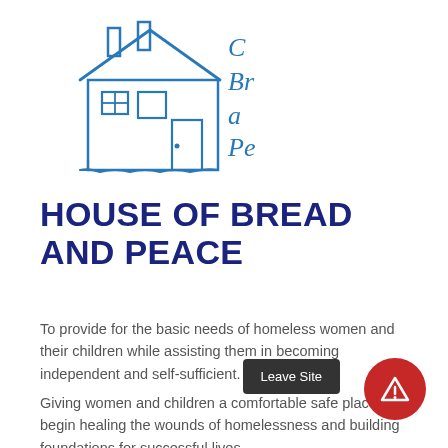[Figure (logo): House of Bread and Peace logo — hand-drawn blue line art of a house with text 'Br' and 'Pe' partially visible beside it in italic blue lettering]
HOUSE OF BREAD AND PEACE
To provide for the basic needs of homeless women and their children while assisting them in becoming independent and self-sufficient.
Giving women and children a comfortable safe place to begin healing the wounds of homelessness and building foundations for successful lives.